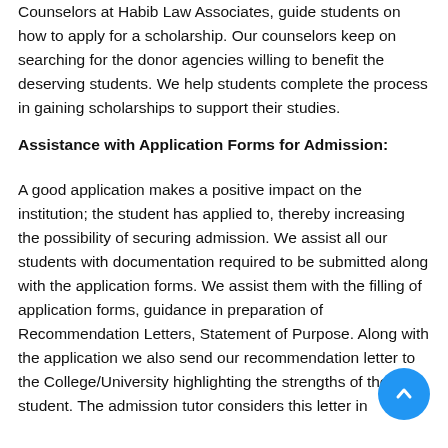Counselors at Habib Law Associates, guide students on how to apply for a scholarship. Our counselors keep on searching for the donor agencies willing to benefit the deserving students. We help students complete the process in gaining scholarships to support their studies.
Assistance with Application Forms for Admission:
A good application makes a positive impact on the institution; the student has applied to, thereby increasing the possibility of securing admission. We assist all our students with documentation required to be submitted along with the application forms. We assist them with the filling of application forms, guidance in preparation of Recommendation Letters, Statement of Purpose. Along with the application we also send our recommendation letter to the College/University highlighting the strengths of the student. The admission tutor considers this letter in